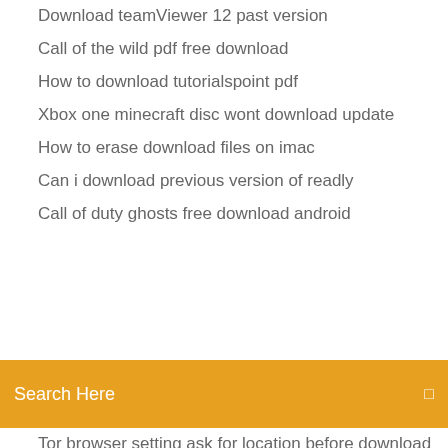Download teamViewer 12 past version
Call of the wild pdf free download
How to download tutorialspoint pdf
Xbox one minecraft disc wont download update
How to erase download files on imac
Can i download previous version of readly
Call of duty ghosts free download android
Search Here
Tor browser setting ask for location before download
How to download garmin ride to file
Google drive cant download files
Does app annie measure download in millions
Android messenger not downloading mms
Best free design and download logo maker
American truck simulator map mods free download
Call of mini infinity hack apk download
Stranger things torrent file download
Dell 1130 driver download